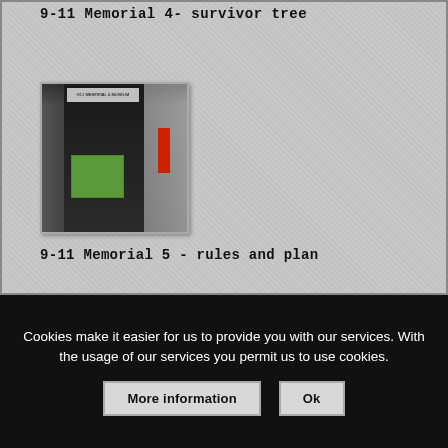9-11 Memorial 4- survivor tree
[Figure (photo): Photograph of a dark informational sign/kiosk for the 9-11 Memorial, with a green information panel and red accent, set against an urban background with a building visible.]
9-11 Memorial 5 - rules and plan
Cookies make it easier for us to provide you with our services. With the usage of our services you permit us to use cookies.
More information
Ok